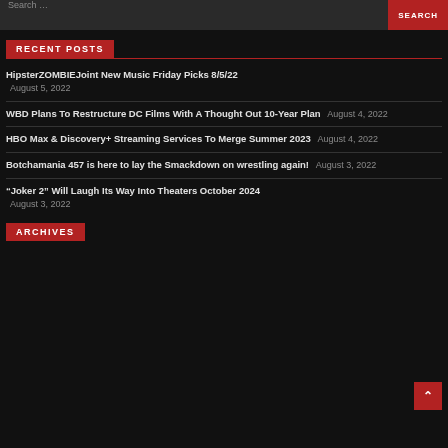Search ...  SEARCH
RECENT POSTS
HipsterZOMBIEJoint New Music Friday Picks 8/5/22 August 5, 2022
WBD Plans To Restructure DC Films With A Thought Out 10-Year Plan August 4, 2022
HBO Max & Discovery+ Streaming Services To Merge Summer 2023 August 4, 2022
Botchamania 457 is here to lay the Smackdown on wrestling again! August 3, 2022
“Joker 2” Will Laugh Its Way Into Theaters October 2024 August 3, 2022
ARCHIVES